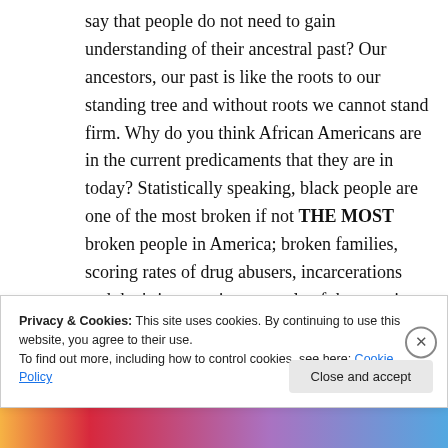say that people do not need to gain understanding of their ancestral past? Our ancestors, our past is like the roots to our standing tree and without roots we cannot stand firm. Why do you think African Americans are in the current predicaments that they are in today? Statistically speaking, black people are one of the most broken if not THE MOST broken people in America; broken families, scoring rates of drug abusers, incarcerations and that's just naming a couple of the pressing issues of African
Privacy & Cookies: This site uses cookies. By continuing to use this website, you agree to their use.
To find out more, including how to control cookies, see here: Cookie Policy
Close and accept